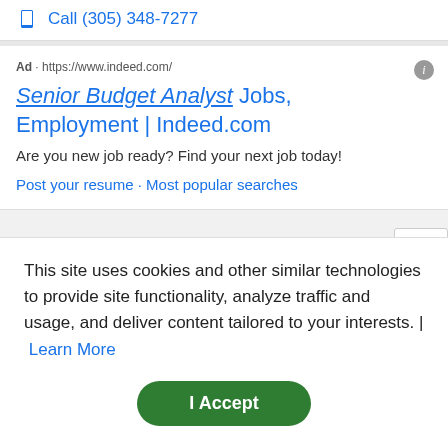Call (305) 348-7277
Ad · https://www.indeed.com/
Senior Budget Analyst Jobs, Employment | Indeed.com
Are you new job ready? Find your next job today!
Post your resume · Most popular searches
Not the job you're looking for? Search more
This site uses cookies and other similar technologies to provide site functionality, analyze traffic and usage, and deliver content tailored to your interests. | Learn More
I Accept